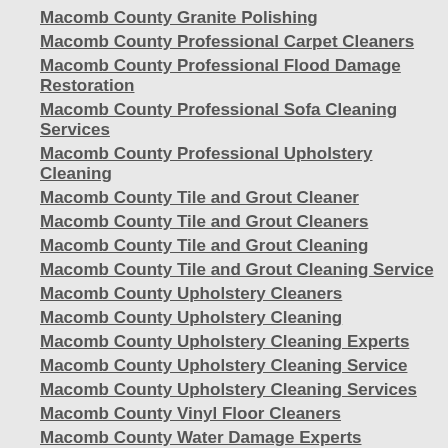Macomb County Granite Polishing
Macomb County Professional Carpet Cleaners
Macomb County Professional Flood Damage Restoration
Macomb County Professional Sofa Cleaning Services
Macomb County Professional Upholstery Cleaning
Macomb County Tile and Grout Cleaner
Macomb County Tile and Grout Cleaners
Macomb County Tile and Grout Cleaning
Macomb County Tile and Grout Cleaning Service
Macomb County Upholstery Cleaners
Macomb County Upholstery Cleaning
Macomb County Upholstery Cleaning Experts
Macomb County Upholstery Cleaning Service
Macomb County Upholstery Cleaning Services
Macomb County Vinyl Floor Cleaners
Macomb County Water Damage Experts